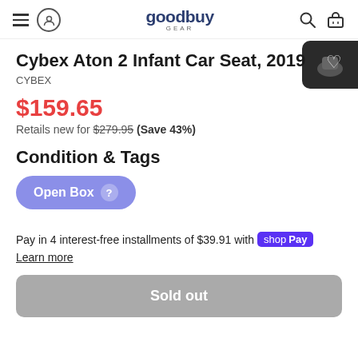goodbuy gear navigation header
Cybex Aton 2 Infant Car Seat, 2019
CYBEX
$159.65
Retails new for $279.95 (Save 43%)
Condition & Tags
Open Box
Pay in 4 interest-free installments of $39.91 with shop Pay
Learn more
Sold out